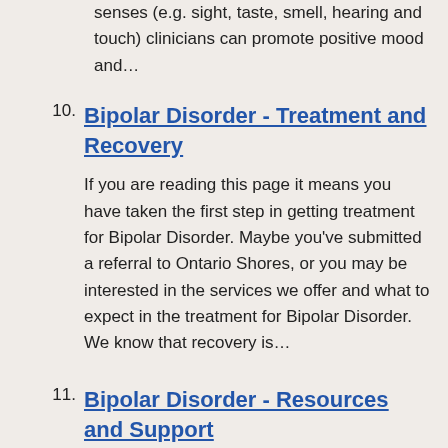senses (e.g. sight, taste, smell, hearing and touch) clinicians can promote positive mood and…
10. Bipolar Disorder - Treatment and Recovery
If you are reading this page it means you have taken the first step in getting treatment for Bipolar Disorder. Maybe you've submitted a referral to Ontario Shores, or you may be interested in the services we offer and what to expect in the treatment for Bipolar Disorder. We know that recovery is…
11. Bipolar Disorder - Resources and Support